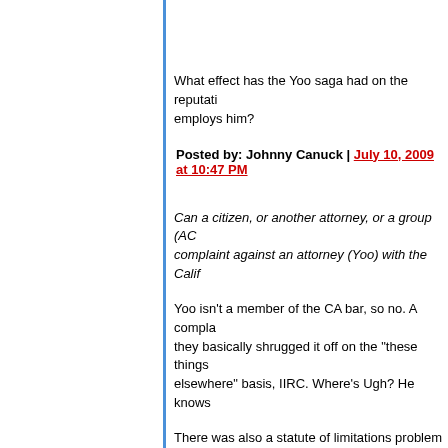What effect has the Yoo saga had on the reputation of the law school that employs him?
Posted by: Johnny Canuck | July 10, 2009 at 10:47 PM
Can a citizen, or another attorney, or a group (AC complaint against an attorney (Yoo) with the Calif
Yoo isn't a member of the CA bar, so no. A complaint was made to the DC bar and they basically shrugged it off on the "these things are better handled elsewhere" basis, IIRC. Where's Ugh? He knows
There was also a statute of limitations problem re like today's revelations would be covered by the " the SOL doesn't begin to run until a reasonable person discovers the wrongdoing.
Posted by: Anderson | July 10, 2009 at 11:00 PM
And we haven't even discussed Youngstown, whi amazingly -- ignored).
It seems to me that all Yoo's arguments amount to